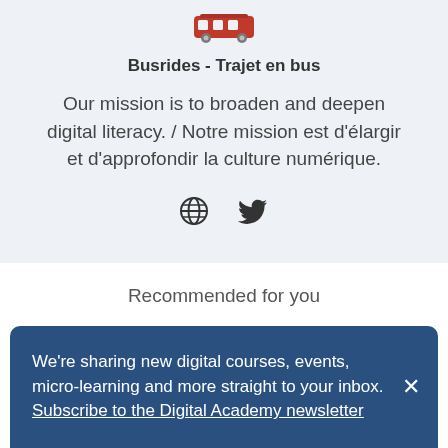[Figure (logo): Red bus icon (car/bus silhouette in red) at the top of the card]
Busrides - Trajet en bus
Our mission is to broaden and deepen digital literacy. / Notre mission est d'élargir et d'approfondir la culture numérique.
[Figure (illustration): Social media icons: globe/web icon and Twitter bird icon]
Recommended for you
We're sharing new digital courses, events, micro-learning and more straight to your inbox. Subscribe to the Digital Academy newsletter